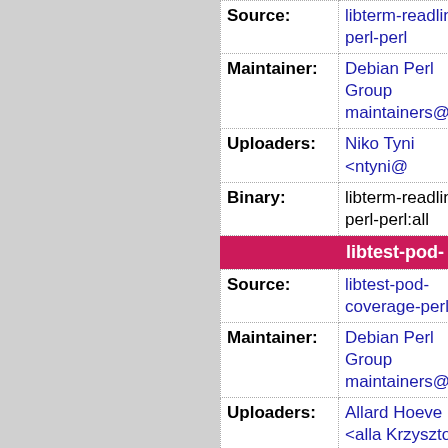| Field | Value |
| --- | --- |
| Source: | libterm-readline-perl-perl |
| Maintainer: | Debian Perl Group maintainers@lists |
| Uploaders: | Niko Tyni <ntyni@ |
| Binary: | libterm-readline-perl-perl:all |
libtest-pod-
| Field | Value |
| --- | --- |
| Source: | libtest-pod-coverage-perl |
| Maintainer: | Debian Perl Group maintainers@lists |
| Uploaders: | Allard Hoeve <alla Krzysztof Krzyzam herrmann <gregos |
| Binary: | libtest-pod-coverage-perl:all |
libtext-aut